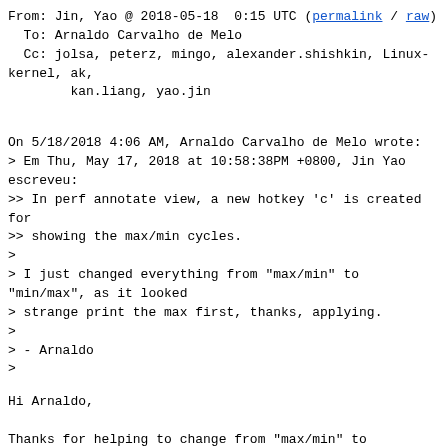From: Jin, Yao @ 2018-05-18  0:15 UTC (permalink / raw)
  To: Arnaldo Carvalho de Melo
  Cc: jolsa, peterz, mingo, alexander.shishkin, Linux-kernel, ak,
        kan.liang, yao.jin
On 5/18/2018 4:06 AM, Arnaldo Carvalho de Melo wrote:
> Em Thu, May 17, 2018 at 10:58:38PM +0800, Jin Yao escreveu:
>> In perf annotate view, a new hotkey 'c' is created for
>> showing the max/min cycles.
>
> I just changed everything from "max/min" to "min/max", as it looked
> strange print the max first, thanks, applying.
>
> - Arnaldo
>
Hi Arnaldo,

Thanks for helping to change from "max/min" to "min/max" and thanks for
applying the patch. Yes, "min/max" looks better.

Thanks
Jin Yao